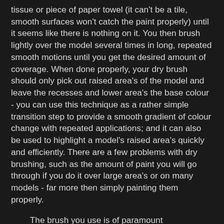tissue or piece of paper towel (it can't be a tile, smooth surfaces won't catch the paint properly) until it seems like there is nothing on it. You then brush lightly over the model several times in long, repeated smooth motions until you get the desired amount of coverage. When done properly, your dry brush should only pick out raised area's of the model and leave the recesses and lower area's the base colour - you can use this technique as a rather simple transition step to provide a smooth gradient of colour change with repeated applications; and it can also be used to highlight a model's raised area's quickly and efficiently. There are a few problems with dry brushing, such as the amount of paint you will go through if you do it over large area's or on many models - far more then simply painting them properly.
The brush you use is of paramount consideration when dry brushing, much like the name suggests - it needs to be dry; when you clean the brush, make sure you thoroughly dry it with paper towel before you put it into your paint pot. If your brush is wet, the paint will run and destroy the effect you're trying to create. You should be using a fairly sturdy or old brush for this process as you will destroy a regular or detail